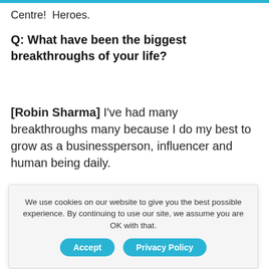Centre!  Heroes.
Q: What have been the biggest breakthroughs of your life?
[Robin Sharma] I've had many breakthroughs many because I do my best to grow as a businessperson, influencer and human being daily.
We use cookies on our website to give you the best possible experience. By continuing to use our site, we assume you are OK with that.
Accept   Privacy Policy
errari rper Collins cing a litigation personal mastery.